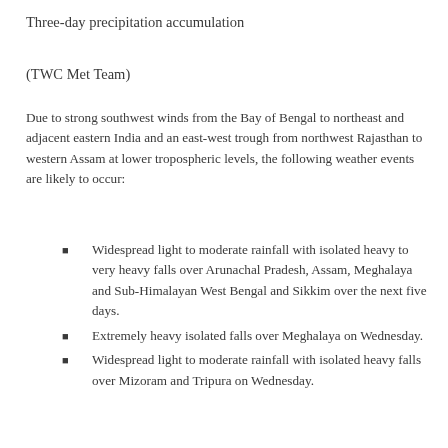Three-day precipitation accumulation
(TWC Met Team)
Due to strong southwest winds from the Bay of Bengal to northeast and adjacent eastern India and an east-west trough from northwest Rajasthan to western Assam at lower tropospheric levels, the following weather events are likely to occur:
Widespread light to moderate rainfall with isolated heavy to very heavy falls over Arunachal Pradesh, Assam, Meghalaya and Sub-Himalayan West Bengal and Sikkim over the next five days.
Extremely heavy isolated falls over Meghalaya on Wednesday.
Widespread light to moderate rainfall with isolated heavy falls over Mizoram and Tripura on Wednesday.